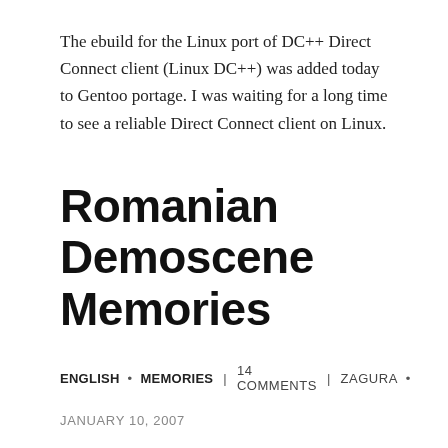The ebuild for the Linux port of DC++ Direct Connect client (Linux DC++) was added today to Gentoo portage. I was waiting for a long time to see a reliable Direct Connect client on Linux.
Romanian Demoscene Memories
ENGLISH • MEMORIES | 14 COMMENTS | ZAGURA •
JANUARY 10, 2007
When I was in high school I was part of the Romanian...